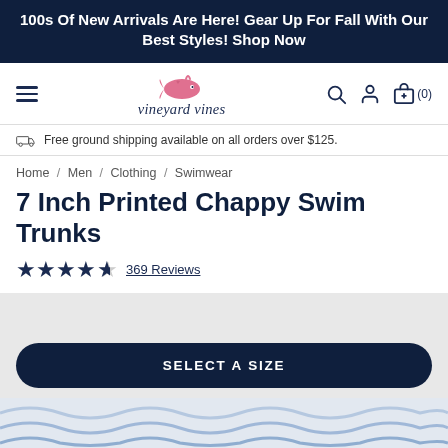100s Of New Arrivals Are Here! Gear Up For Fall With Our Best Styles! Shop Now
[Figure (logo): Vineyard Vines logo with pink whale and italic brand name, plus hamburger menu, search, account, and bag icons]
Free ground shipping available on all orders over $125.
Home / Men / Clothing / Swimwear
7 Inch Printed Chappy Swim Trunks
★★★★☆ 369 Reviews
[Figure (screenshot): Gray product image area with SELECT A SIZE button and partial swim trunks image at bottom]